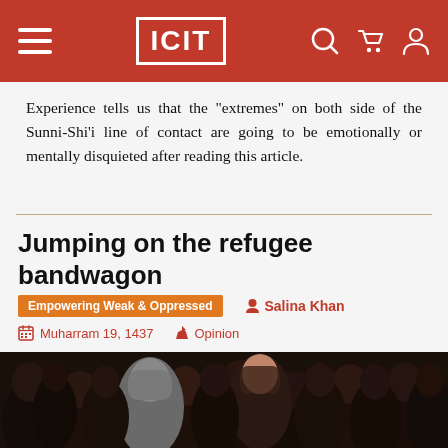ICIT navigation bar with hamburger menu, ICIT logo, search, cart, and profile icons
Experience tells us that the "extremes" on both side of the Sunni-Shi'i line of contact are going to be emotionally or mentally disquieted after reading this article.
Jumping on the refugee bandwagon
Empowering Weak & Oppressed   Salina Khan
Muharram 19, 1437   Opinion
[Figure (photo): A crowd of women wearing black hijabs and chadors, with one woman in the center wearing a grey hijab and headscarf, looking at the camera.]